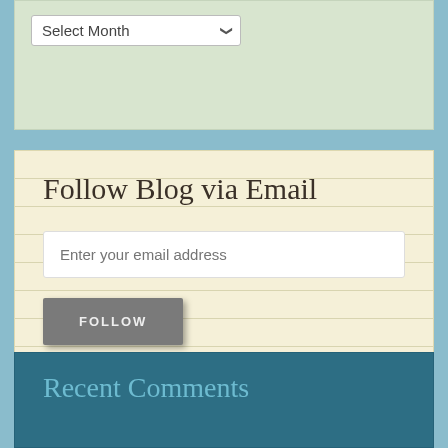[Figure (screenshot): A dropdown widget with 'Select Month' label on a light green background]
Follow Blog via Email
Enter your email address
FOLLOW
Recent Comments